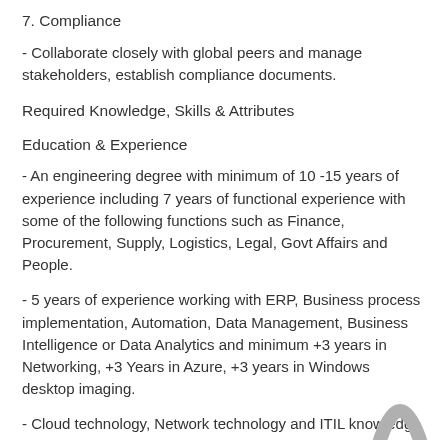7. Compliance
- Collaborate closely with global peers and manage stakeholders, establish compliance documents.
Required Knowledge, Skills & Attributes
Education & Experience
- An engineering degree with minimum of 10 -15 years of experience including 7 years of functional experience with some of the following functions such as Finance, Procurement, Supply, Logistics, Legal, Govt Affairs and People.
- 5 years of experience working with ERP, Business process implementation, Automation, Data Management, Business Intelligence or Data Analytics and minimum +3 years in Networking, +3 Years in Azure, +3 years in Windows desktop imaging.
- Cloud technology, Network technology and ITIL knowledge
- Experience in Virtualization technologies and server
[Figure (logo): Partial logo — grey arc/chevron shape at bottom right corner]